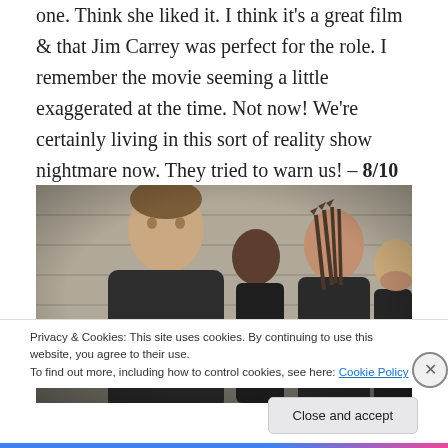one. Think she liked it. I think it's a great film & that Jim Carrey was perfect for the role. I remember the movie seeming a little exaggerated at the time. Not now! We're certainly living in this sort of reality show nightmare now. They tried to warn us! – 8/10
[Figure (photo): Movie still showing four people including a young man in the foreground and a woman with arrows on her back, all wearing dark clothing, standing in front of a stone wall.]
Privacy & Cookies: This site uses cookies. By continuing to use this website, you agree to their use.
To find out more, including how to control cookies, see here: Cookie Policy